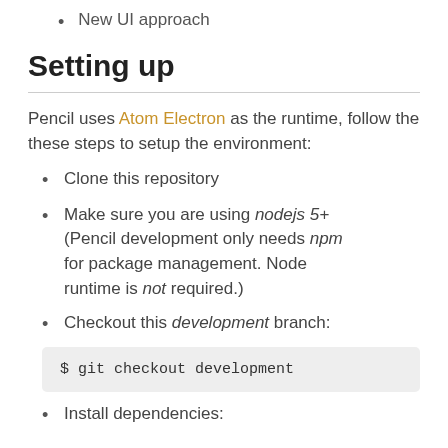New UI approach
Setting up
Pencil uses Atom Electron as the runtime, follow the these steps to setup the environment:
Clone this repository
Make sure you are using nodejs 5+ (Pencil development only needs npm for package management. Node runtime is not required.)
Checkout this development branch:
$ git checkout development
Install dependencies: